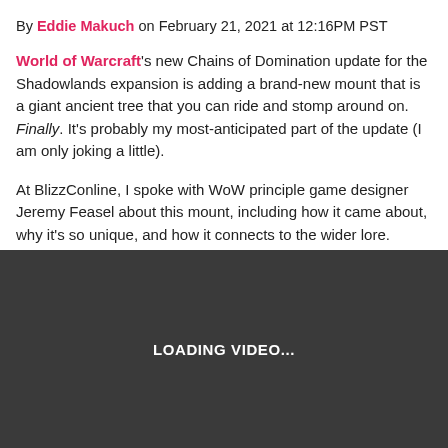By Eddie Makuch on February 21, 2021 at 12:16PM PST
World of Warcraft's new Chains of Domination update for the Shadowlands expansion is adding a brand-new mount that is a giant ancient tree that you can ride and stomp around on. Finally. It's probably my most-anticipated part of the update (I am only joking a little).

At BlizzConline, I spoke with WoW principle game designer Jeremy Feasel about this mount, including how it came about, why it's so unique, and how it connects to the wider lore.
[Figure (screenshot): Dark gray video loading placeholder showing 'LOADING VIDEO...' text in white]